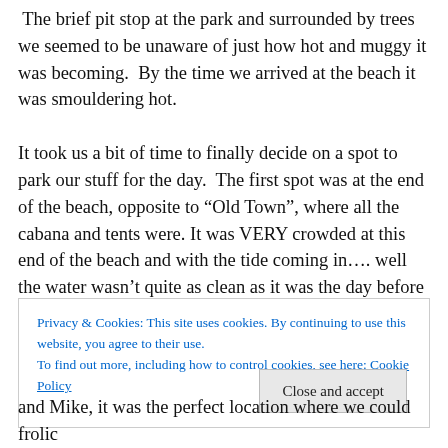The brief pit stop at the park and surrounded by trees we seemed to be unaware of just how hot and muggy it was becoming.  By the time we arrived at the beach it was smouldering hot.

It took us a bit of time to finally decide on a spot to park our stuff for the day.  The first spot was at the end of the beach, opposite to “Old Town”, where all the cabana and tents were. It was VERY crowded at this end of the beach and with the tide coming in…. well the water wasn’t quite as clean as it was the day before on our walk.  We made
Privacy & Cookies: This site uses cookies. By continuing to use this website, you agree to their use.
To find out more, including how to control cookies, see here: Cookie Policy
and Mike, it was the perfect location where we could frolic